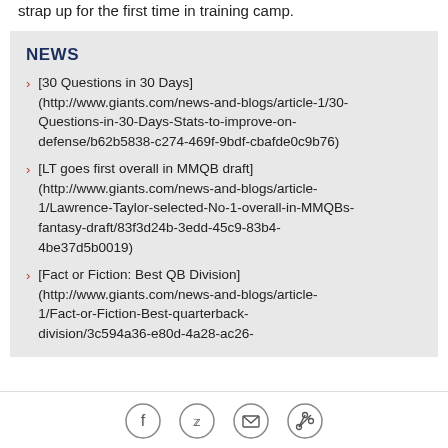strap up for the first time in training camp.
NEWS
[30 Questions in 30 Days](http://www.giants.com/news-and-blogs/article-1/30-Questions-in-30-Days-Stats-to-improve-on-defense/b62b5838-c274-469f-9bdf-cbafde0c9b76)
[LT goes first overall in MMQB draft](http://www.giants.com/news-and-blogs/article-1/Lawrence-Taylor-selected-No-1-overall-in-MMQBs-fantasy-draft/83f3d24b-3edd-45c9-83b4-4be37d5b0019)
[Fact or Fiction: Best QB Division](http://www.giants.com/news-and-blogs/article-1/Fact-or-Fiction-Best-quarterback-division/3c594a36-e80d-4a28-ac26-
[Figure (other): Social sharing icons: Facebook, Twitter, email, link]